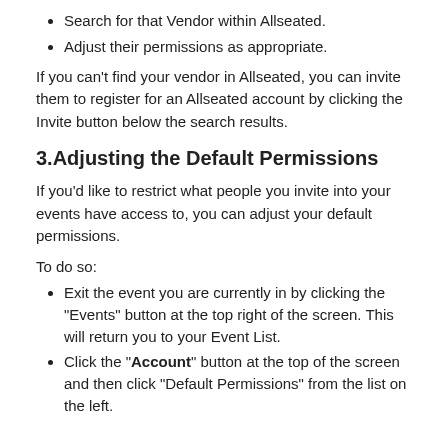Search for that Vendor within Allseated.
Adjust their permissions as appropriate.
If you can't find your vendor in Allseated, you can invite them to register for an Allseated account by clicking the Invite button below the search results.
3.Adjusting the Default Permissions
If you'd like to restrict what people you invite into your events have access to, you can adjust your default permissions.
To do so:
Exit the event you are currently in by clicking the "Events" button at the top right of the screen. This will return you to your Event List.
Click the "Account" button at the top of the screen and then click "Default Permissions" from the list on the left.